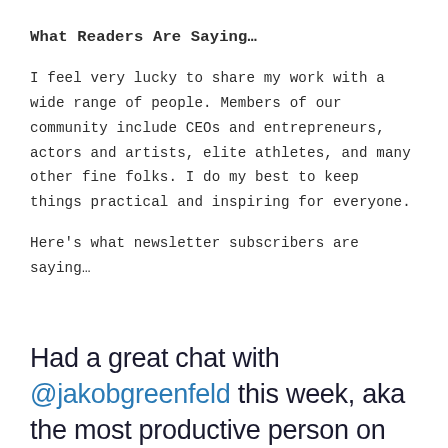What Readers Are Saying…
I feel very lucky to share my work with a wide range of people. Members of our community include CEOs and entrepreneurs, actors and artists, elite athletes, and many other fine folks. I do my best to keep things practical and inspiring for everyone.
Here's what newsletter subscribers are saying…
Had a great chat with @jakobgreenfeld this week, aka the most productive person on the internet. He creates great content